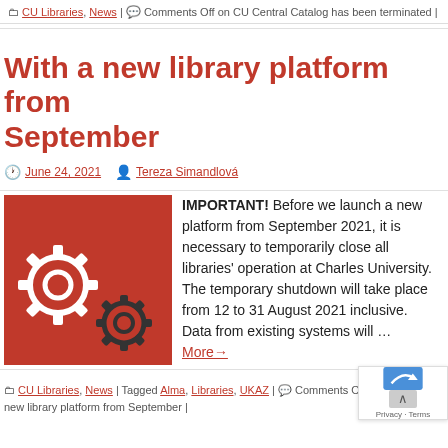CU Libraries, News | Comments Off on CU Central Catalog has been terminated |
With a new library platform from September
June 24, 2021  Tereza Simandlová
[Figure (illustration): Red background with two white gear/cog icons overlapping]
IMPORTANT! Before we launch a new platform from September 2021, it is necessary to temporarily close all libraries' operation at Charles University. The temporary shutdown will take place from 12 to 31 August 2021 inclusive. Data from existing systems will … More→
CU Libraries, News | Tagged Alma, Libraries, UKAZ | Comments O… new library platform from September |